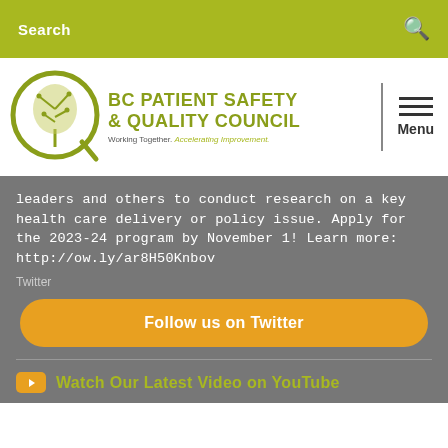Search
[Figure (logo): BC Patient Safety & Quality Council logo with circular tree design and tagline 'Working Together. Accelerating Improvement.']
leaders and others to conduct research on a key health care delivery or policy issue. Apply for the 2023-24 program by November 1! Learn more: http://ow.ly/ar8H50Knbov
Twitter
Follow us on Twitter
Watch Our Latest Video on YouTube